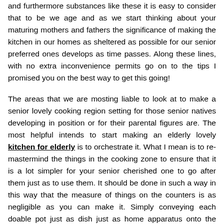and furthermore substances like these it is easy to consider that to be we age and as we start thinking about your maturing mothers and fathers the significance of making the kitchen in our homes as sheltered as possible for our senior preferred ones develops as time passes. Along these lines, with no extra inconvenience permits go on to the tips I promised you on the best way to get this going!
The areas that we are mosting liable to look at to make a senior lovely cooking region setting for those senior natives developing in position or for their parental figures are. The most helpful intends to start making an elderly lovely kitchen for elderly is to orchestrate it. What I mean is to re-mastermind the things in the cooking zone to ensure that it is a lot simpler for your senior cherished one to go after them just as to use them. It should be done in such a way in this way that the measure of things on the counters is as negligible as you can make it. Simply conveying each doable pot just as dish just as home apparatus onto the ledge is not the significant activities! I comprehend this